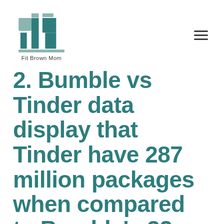[Figure (logo): Fit Brown Mom logo: stylized 'FW' or 'FM' letters in teal/dark teal geometric shapes above a horizontal bar, with text 'Fit Brown Mom' below]
2. Bumble vs Tinder data display that Tinder have 287 million packages when compared to Bumble's 32 million.